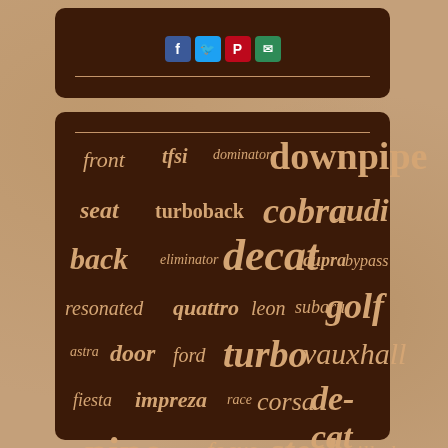[Figure (other): Social media sharing icons: Facebook, Twitter, Pinterest, Email in a dark brown rounded box]
[Figure (infographic): Word cloud of automotive exhaust-related search terms on dark brown background. Words include: downpipe (very large), exhaust, stainless, sport (large), cobra, decat, turbo, golf, audi, pipe, steel (medium-large), back, front, resonated, quattro, turboback, seat, leon, subaru, vauxhall, cupra, bypass, impreza, door, ford, fiesta, corsa, de-cat, focus, milltek, astra, race, eliminator, dominator, tfsi (small)]